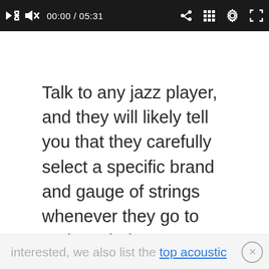[Figure (screenshot): Video player control bar showing mute icon, time 00:00 / 05:31, share, grid, settings, and fullscreen icons on a dark background]
Talk to any jazz player, and they will likely tell you that they carefully select a specific brand and gauge of strings whenever they go to replace their current ones. Do you still think it doesn’t make a difference?
Here are some of the best electric guitar strings you can buy. If you're ever
interested, we also list the top acoustic guitar strings here.